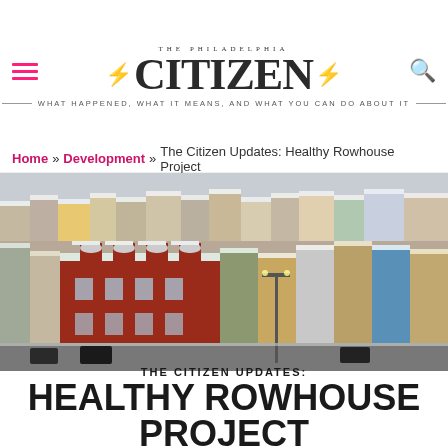THE PHILADELPHIA CITIZEN — WHAT HAPPENED, WHAT IT MEANS, AND WHAT YOU CAN DO ABOUT IT
Home » Development » The Citizen Updates: Healthy Rowhouse Project
[Figure (photo): Aerial view of Philadelphia rowhouses covered in snow, showing colorful brick row homes densely packed in urban neighborhood]
THE CITIZEN UPDATES: HEALTHY ROWHOUSE PROJECT